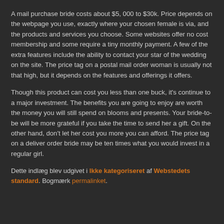A mail purchase bride costs about $5, 000 to $30k. Price depends on the webpage you use, exactly where your chosen female is via, and the products and services you choose. Some websites offer no cost membership and some require a tiny monthly payment. A few of the extra features include the ability to contact your star of the wedding on the site. The price tag on a postal mail order woman is usually not that high, but it depends on the features and offerings it offers.
Though this product can cost you less than one buck, it's continue to a major investment. The benefits you are going to enjoy are worth the money you will still spend on blooms and presents. Your bride-to-be will be more grateful if you take the time to send her a gift. On the other hand, don't let her cost you more you can afford. The price tag on a deliver order bride may be ten times what you would invest in a regular girl.
Dette indlæg blev udgivet i Ikke kategoriseret af Webstedets standard. Bogmærk permalinket.